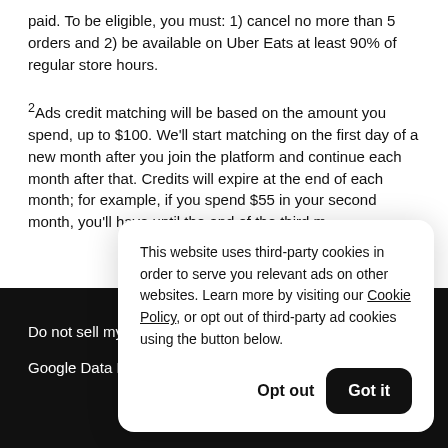paid. To be eligible, you must: 1) cancel no more than 5 orders and 2) be available on Uber Eats at least 90% of regular store hours.
²Ads credit matching will be based on the amount you spend, up to $100. We'll start matching on the first day of a new month after you join the platform and continue each month after that. Credits will expire at the end of each month; for example, if you spend $55 in your second month, you'll have until the end of the third m…
This website uses third-party cookies in order to serve you relevant ads on other websites. Learn more by visiting our Cookie Policy, or opt out of third-party ad cookies using the button below.
Do not sell my
Google Data P